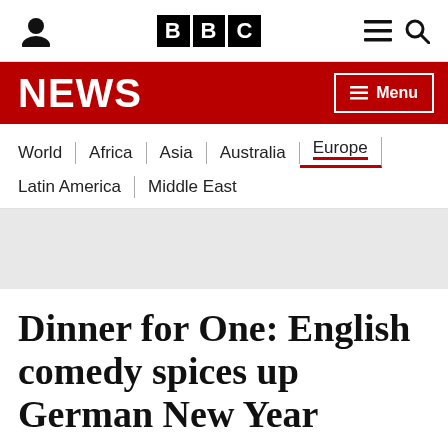BBC NEWS
World | Africa | Asia | Australia | Europe | Latin America | Middle East
[Figure (other): Grey advertisement/image placeholder banner]
Dinner for One: English comedy spices up German New Year